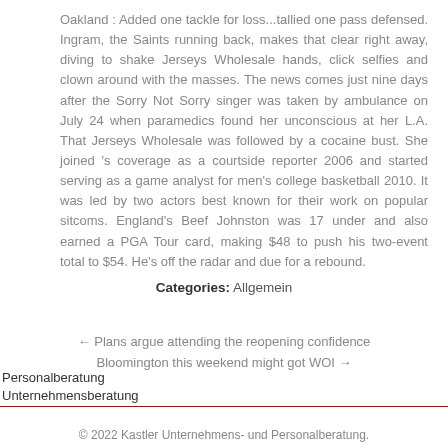Oakland : Added one tackle for loss...tallied one pass defensed. Ingram, the Saints running back, makes that clear right away, diving to shake Jerseys Wholesale hands, click selfies and clown around with the masses. The news comes just nine days after the Sorry Not Sorry singer was taken by ambulance on July 24 when paramedics found her unconscious at her L.A. That Jerseys Wholesale was followed by a cocaine bust. She joined 's coverage as a courtside reporter 2006 and started serving as a game analyst for men's college basketball 2010. It was led by two actors best known for their work on popular sitcoms. England's Beef Johnston was 17 under and also earned a PGA Tour card, making $48 to push his two-event total to $54. He's off the radar and due for a rebound.
Categories: Allgemein
← Plans argue attending the reopening confidence
Bloomington this weekend might got WOI →
Personalberatung
Unternehmensberatung
© 2022 Kastler Unternehmens- und Personalberatung.